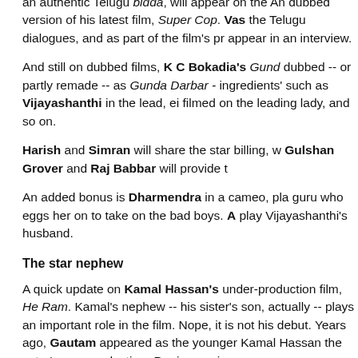an authentic Telugu bidda, will appear on the An dubbed version of his latest film, Super Cop. Vas the Telugu dialogues, and as part of the film's pro appear in an interview.
And still on dubbed films, K C Bokadia's Gund dubbed -- or partly remade -- as Gunda Darbar - ingredients' such as Vijayashanthi in the lead, ei filmed on the leading lady, and so on.
Harish and Simran will share the star billing, w Gulshan Grover and Raj Babbar will provide t
An added bonus is Dharmendra in a cameo, pla guru who eggs her on to take on the bad boys. A play Vijayashanthi's husband.
The star nephew
A quick update on Kamal Hassan's under-production film, He Ram. Kamal's nephew -- his sister's son, actually -- plays an important role in the film. Nope, it is not his debut. Years ago, Gautam appeared as the younger Kamal Hassan the actor's own production, Raajaparvai.